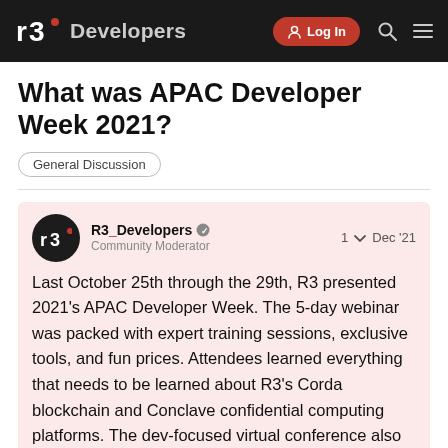r3. Developers — Log In
What was APAC Developer Week 2021?
General Discussion
R3_Developers Community Moderator — 1 Dec '21
Last October 25th through the 29th, R3 presented 2021's APAC Developer Week. The 5-day webinar was packed with expert training sessions, exclusive tools, and fun prices. Attendees learned everything that needs to be learned about R3's Corda blockchain and Conclave confidential computing platforms. The dev-focused virtual conference also gave away free certifications for Corda and Conclave programs, and over 10,000 dollars in prizes.
1 / 1